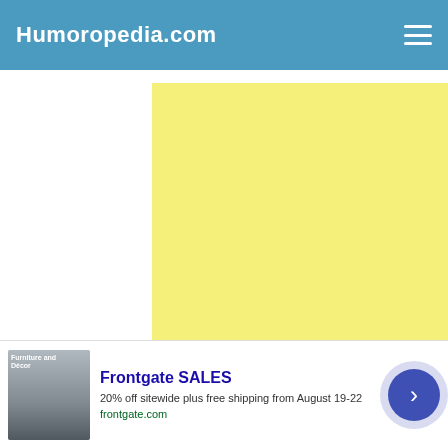Humoropedia.com
[Figure (other): Large yellow advertisement placeholder block]
[Figure (other): Second yellow advertisement placeholder block]
[Figure (other): Frontgate SALES banner advertisement with outdoor furniture image, text: Frontgate SALES, 20% off sitewide plus free shipping from August 19-22, frontgate.com, with navigational arrow button and close button]